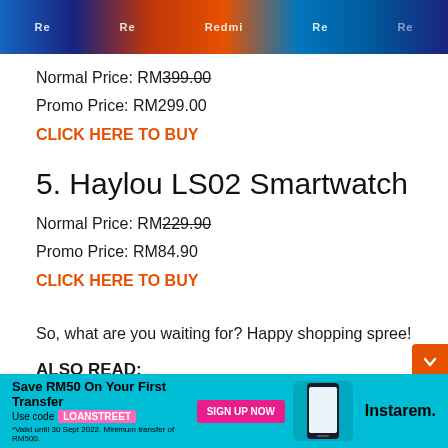[Figure (photo): Top banner showing multiple Redmi smartphones in different colors (blue, black, orange, teal, dark blue)]
Normal Price: RM399.00 (strikethrough)
Promo Price: RM299.00
CLICK HERE TO BUY
5. Haylou LS02 Smartwatch
Normal Price: RM229.90 (strikethrough)
Promo Price: RM84.90
CLICK HERE TO BUY
So, what are you waiting for? Happy shopping spree!
ALSO READ:
Shopee & Lazada 9.9 Promo Codes to Pay Less!
[Figure (infographic): Instarem promotional banner: Save RM50 On Your First Transfer. Use code LOANSTREET. Sign Up Now. Valid until 30 Sept 2022. Minimum transfer of RM500.]